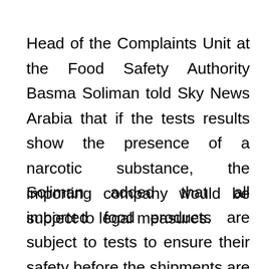Head of the Complaints Unit at the Food Safety Authority Basma Soliman told Sky News Arabia that if the tests results show the presence of a narcotic substance, the importing company would be subject to legal measures.
Soliman added that all imported food products are subject to tests to ensure their safety before the shipments are allowed in. That is relevant to the issue at